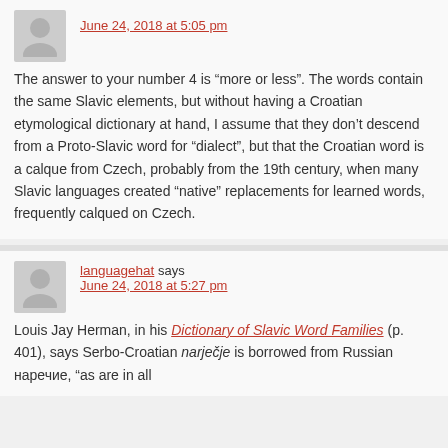June 24, 2018 at 5:05 pm
The answer to your number 4 is “more or less”. The words contain the same Slavic elements, but without having a Croatian etymological dictionary at hand, I assume that they don’t descend from a Proto-Slavic word for “dialect”, but that the Croatian word is a calque from Czech, probably from the 19th century, when many Slavic languages created “native” replacements for learned words, frequently calqued on Czech.
languagehat says
June 24, 2018 at 5:27 pm
Louis Jay Herman, in his Dictionary of Slavic Word Families (p. 401), says Serbo-Croatian narječje is borrowed from Russian наречие, “as are in all